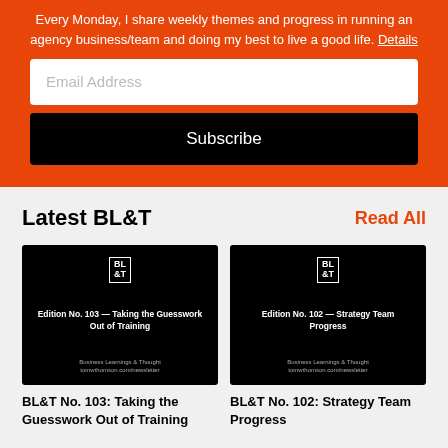Every Monday, I share weekly themes and progress in running an agency business/team and doing my best to live a good life. Details
[Figure (screenshot): Email address input field with placeholder text 'Email Address']
[Figure (screenshot): Black Subscribe button]
Latest BL&T
Read All
[Figure (screenshot): Black card image for BL&T Edition No. 103 - Taking the Guesswork Out of Training, showing BL&T logo and edition title]
BL&T No. 103: Taking the Guesswork Out of Training
[Figure (screenshot): Black card image for BL&T Edition No. 102 - Strategy Team Progress, showing BL&T logo and edition title]
BL&T No. 102: Strategy Team Progress